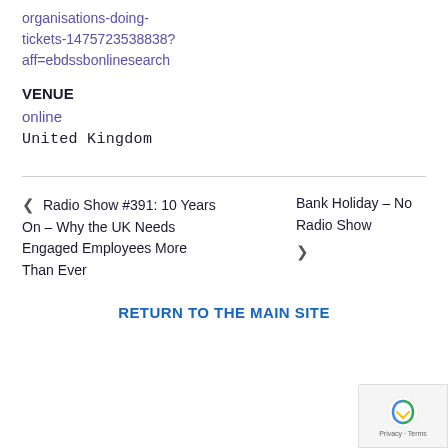organisations-doing-tickets-1475723538838?aff=ebdssbonlinesearch
VENUE
online
United Kingdom
< Radio Show #391: 10 Years On – Why the UK Needs Engaged Employees More Than Ever
Bank Holiday – No Radio Show >
RETURN TO THE MAIN SITE